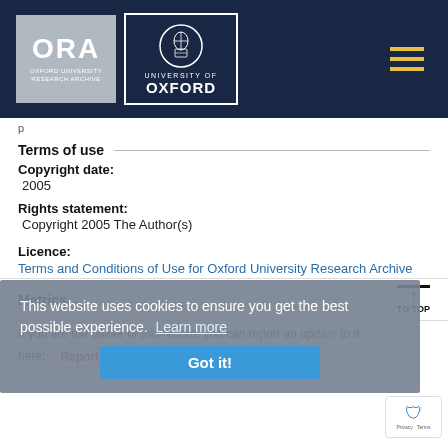[Figure (logo): Oxford University Research Archive (ORA) header with ORA logo on left, University of Oxford crest logo in center, and hamburger menu icon on right, all on dark navy background]
Terms of use
Copyright date:
2005
Rights statement:
Copyright 2005 The Author(s)
Licence:
Terms and Conditions of Use for Oxford University Research Archive
Metrics
If you are the owner of this record, you can report an update to it here:  Report update to this record
This website uses cookies to ensure you get the best possible experience. Learn more
Got it!